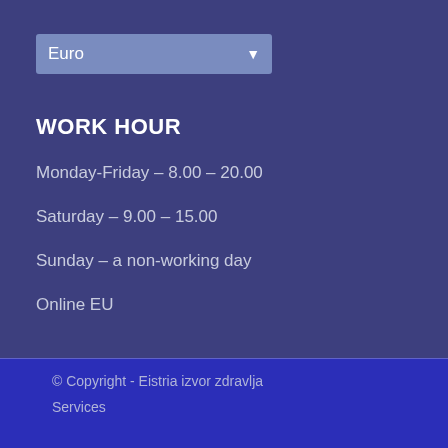Euro
WORK HOUR
Monday-Friday – 8.00 – 20.00
Saturday – 9.00 – 15.00
Sunday – a non-working day
Online EU
© Copyright - Eistria izvor zdravlja
Services